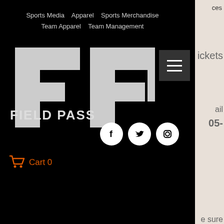Sports Media   Apparel   Sports Merchandise   Team Apparel   Team Management
[Figure (logo): Field Pass FP logo - white FP letters on black background with FIELD PASS text below]
Cart 0
Soccer
Share via Facebook, Twitter, LinkedIn, Link